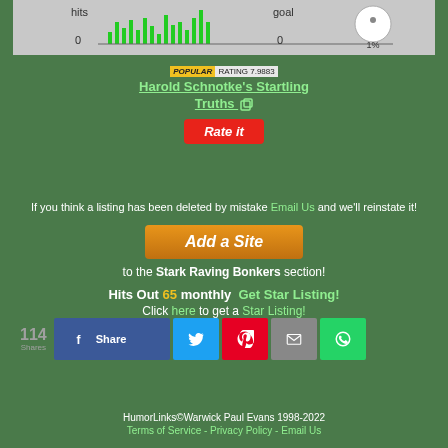[Figure (bar-chart): Bar chart showing hits=0 and goal=0, with green bars and a circular progress indicator showing 1%]
POPULAR RATING 7.9883 — Harold Schnotke's Startling Truths
[Figure (other): Rate it button (red)]
If you think a listing has been deleted by mistake Email Us and we'll reinstate it!
[Figure (other): Add a Site button (orange)]
to the Stark Raving Bonkers section!
Hits Out 65 monthly  Get Star Listing!
Click here to get a Star Listing!
114 Shares — Share / Twitter / Pinterest / Email / WhatsApp buttons
HumorLinks©Warwick Paul Evans 1998-2022 Terms of Service - Privacy Policy - Email Us